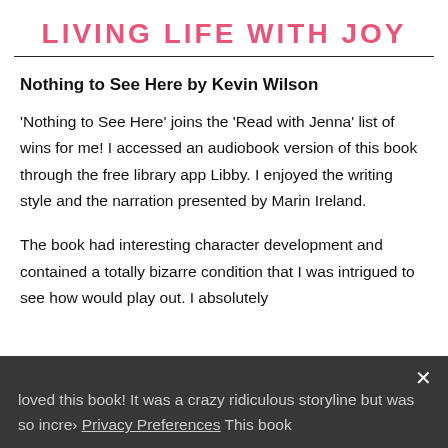LIVING LIFE WITH JOY
Nothing to See Here by Kevin Wilson
'Nothing to See Here' joins the 'Read with Jenna' list of wins for me! I accessed an audiobook version of this book through the free library app Libby. I enjoyed the writing style and the narration presented by Marin Ireland.
The book had interesting character development and contained a totally bizarre condition that I was intrigued to see how would play out. I absolutely loved this book! It was a crazy ridiculous storyline but was so incre… Privacy Preferences This book